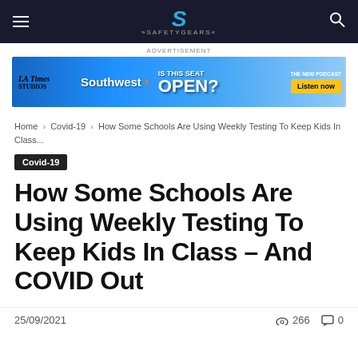SAFETYGEARS (site logo/nav bar)
[Figure (photo): Advertisement banner for LA Times Studios / Southwest Airlines podcast 'Is This Seat Open?' with Listen now button]
ADVERTISEMENT
Home › Covid-19 › How Some Schools Are Using Weekly Testing To Keep Kids In Class...
Covid-19
How Some Schools Are Using Weekly Testing To Keep Kids In Class – And COVID Out
25/09/2021  266 views  0 comments